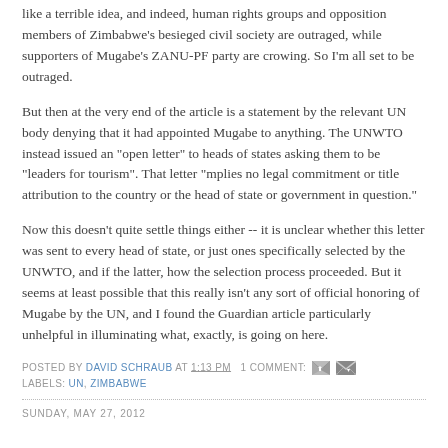like a terrible idea, and indeed, human rights groups and opposition members of Zimbabwe's besieged civil society are outraged, while supporters of Mugabe's ZANU-PF party are crowing. So I'm all set to be outraged.
But then at the very end of the article is a statement by the relevant UN body denying that it had appointed Mugabe to anything. The UNWTO instead issued an "open letter" to heads of states asking them to be "leaders for tourism". That letter "mplies no legal commitment or title attribution to the country or the head of state or government in question."
Now this doesn't quite settle things either -- it is unclear whether this letter was sent to every head of state, or just ones specifically selected by the UNWTO, and if the latter, how the selection process proceeded. But it seems at least possible that this really isn't any sort of official honoring of Mugabe by the UN, and I found the Guardian article particularly unhelpful in illuminating what, exactly, is going on here.
POSTED BY DAVID SCHRAUB AT 1:13 PM  1 COMMENT:
LABELS: UN, ZIMBABWE
SUNDAY, MAY 27, 2012